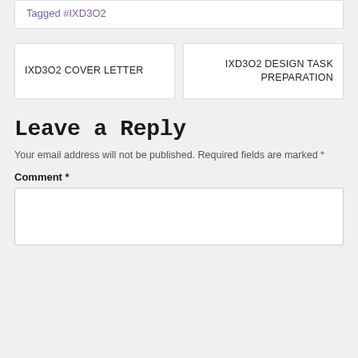Tagged #IXD3O2
IXD3O2 COVER LETTER
IXD3O2 DESIGN TASK PREPARATION
Leave a Reply
Your email address will not be published. Required fields are marked *
Comment *